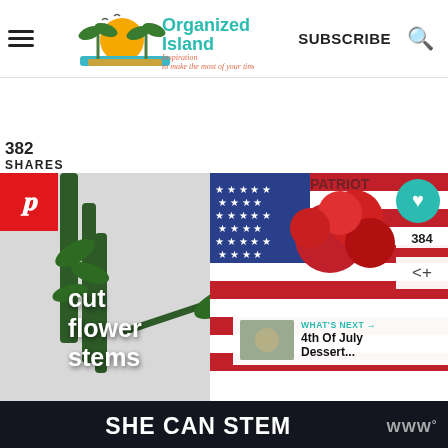Organized Island — Inspiration to make the most of your time | SUBSCRIBE
382
SHARES
[Figure (photo): Photo of flower stems and an American flag with red carnations, with text overlay 'cut flower stems'. Pinterest share button, heart button, share count 384, and a 'WHAT'S NEXT: 4th Of July Dessert...' overlay card are visible.]
SHE CAN STEM